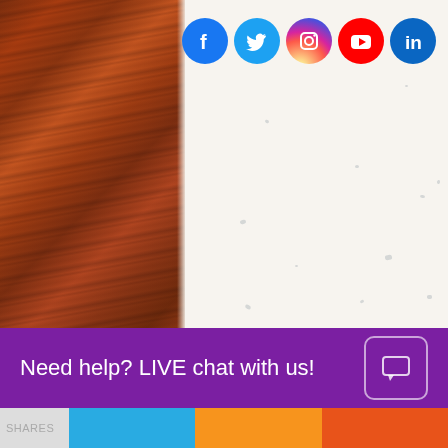[Figure (photo): A leather or wood-grain textured brown panel on the left side of the page, next to an open notebook/paper page with a slightly speckled cream/off-white surface.]
[Figure (infographic): Row of five circular social media icons: Facebook (blue), Twitter (blue bird), Instagram (gradient), YouTube (red), LinkedIn (blue), positioned in the top right corner.]
Need help? LIVE chat with us!